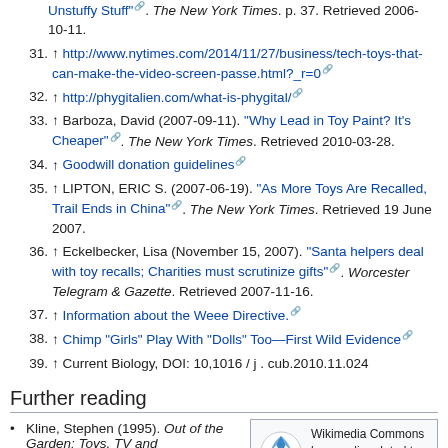Unstuffy Stuff". The New York Times. p. 37. Retrieved 2006-10-11.
31. ↑ http://www.nytimes.com/2014/11/27/business/tech-toys-that-can-make-the-video-screen-passe.html?_r=0
32. ↑ http://phygitalien.com/what-is-phygital/
33. ↑ Barboza, David (2007-09-11). "Why Lead in Toy Paint? It's Cheaper". The New York Times. Retrieved 2010-03-28.
34. ↑ Goodwill donation guidelines
35. ↑ LIPTON, ERIC S. (2007-06-19). "As More Toys Are Recalled, Trail Ends in China". The New York Times. Retrieved 19 June 2007.
36. ↑ Eckelbecker, Lisa (November 15, 2007). "Santa helpers deal with toy recalls; Charities must scrutinize gifts". Worcester Telegram & Gazette. Retrieved 2007-11-16.
37. ↑ Information about the Weee Directive.
38. ↑ Chimp "Girls" Play With "Dolls" Too—First Wild Evidence
39. ↑ Current Biology, DOI: 10,1016 / j . cub.2010.11.024
Further reading
Kline, Stephen (1995). Out of the Garden: Toys, TV and...
Wikimedia Commons has media related to Toys.